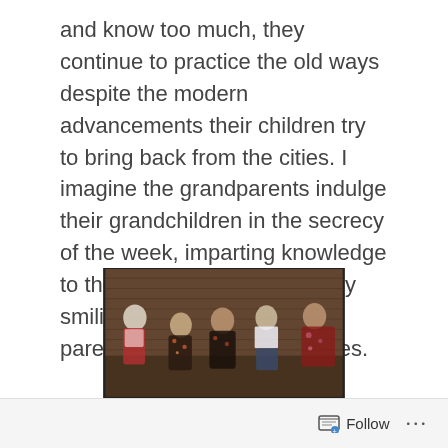and know too much, they continue to practice the old ways despite the modern advancements their children try to bring back from the cities. I imagine the grandparents indulge their grandchildren in the secrecy of the week, imparting knowledge to them and even occasionally smiling, while the children's parents work in the many cities.
[Figure (photo): Five elderly women wearing headscarves and traditional clothing sitting against a brick wall.]
Follow ...